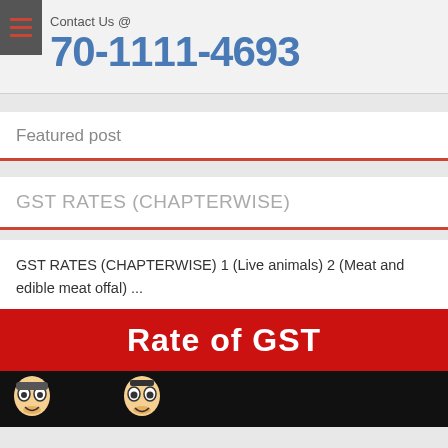Contact Us @
70-1111-4693
Featured post
GST RATES (CHAPTERWISE)
GST RATES (CHAPTERWISE) 1 (Live animals) 2 (Meat and edible meat offal) ...
[Figure (illustration): Rate of GST banner with red background and cartoon characters below on black background]